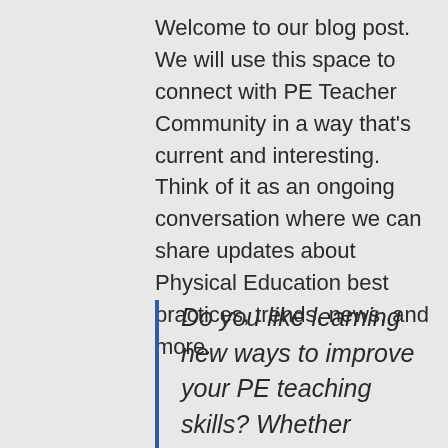Welcome to our blog post. We will use this space to connect with PE Teacher Community in a way that's current and interesting. Think of it as an ongoing conversation where we can share updates about Physical Education best practices, trends, news, and more.
Do you like learning new ways to improve your PE teaching skills? Whether online, in-person or hybrid, we will have great articles and resources for everyone.